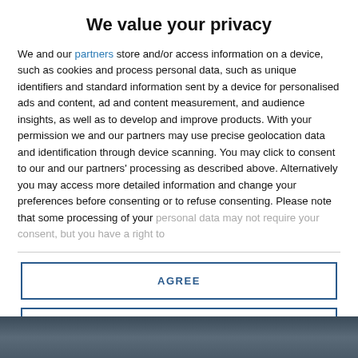We value your privacy
We and our partners store and/or access information on a device, such as cookies and process personal data, such as unique identifiers and standard information sent by a device for personalised ads and content, ad and content measurement, and audience insights, as well as to develop and improve products. With your permission we and our partners may use precise geolocation data and identification through device scanning. You may click to consent to our and our partners' processing as described above. Alternatively you may access more detailed information and change your preferences before consenting or to refuse consenting. Please note that some processing of your personal data may not require your consent, but you have a right to
AGREE
MORE OPTIONS
[Figure (photo): Background photo of a crowd/group of people, partially visible at the bottom of the modal overlay]